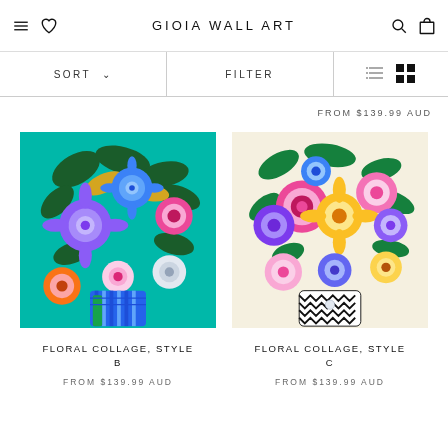GIOIA WALL ART
SORT ↓   FILTER
FROM $139.99 AUD
[Figure (illustration): Floral collage painting Style B – colorful flowers on teal/turquoise background with blue and green vase]
FLORAL COLLAGE, STYLE B
FROM $139.99 AUD
[Figure (illustration): Floral collage painting Style C – colorful flowers on beige/cream background with black and white patterned vase]
FLORAL COLLAGE, STYLE C
FROM $139.99 AUD